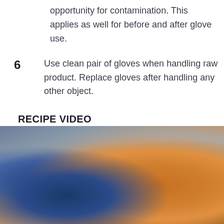opportunity for contamination. This applies as well for before and after glove use.
6  Use clean pair of gloves when handling raw product. Replace gloves after handling any other object.
RECIPE VIDEO
[Figure (photo): Blurred photograph of food being prepared, showing warm orange/golden tones with blue background elements, appears to be raw product being handled]